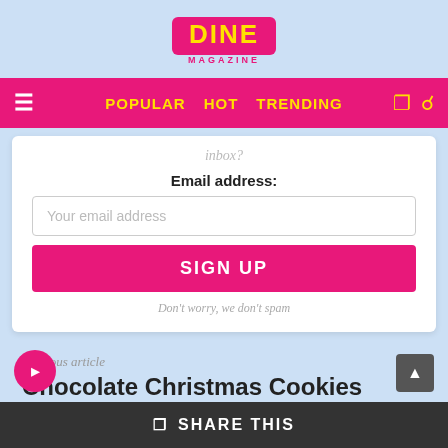[Figure (logo): DINE MAGAZINE logo - pink background with yellow text]
POPULAR HOT TRENDING
inbox?
Email address:
Your email address
SIGN UP
Don't worry, we don't spam
Previous article
Chocolate Christmas Cookies
SHARE THIS